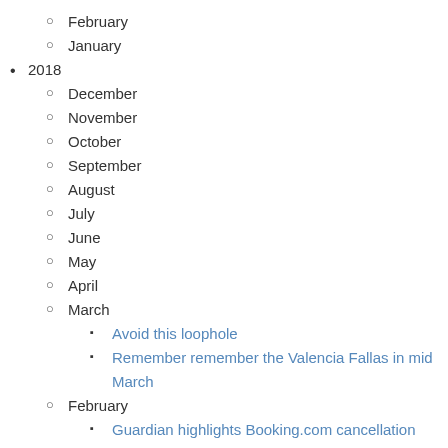February
January
2018
December
November
October
September
August
July
June
May
April
March
Avoid this loophole
Remember remember the Valencia Fallas in mid March
February
Guardian highlights Booking.com cancellation issue
Thomas Cook sun bed battle ends
January
Insiders Info: Using a Booking Portal for holiday
The Costa Blanca: something for all the family
List of attractions of Calpe and what to do